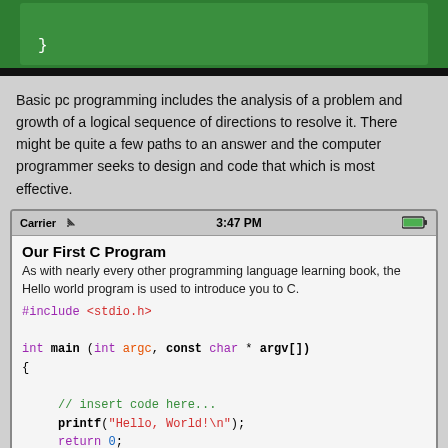[Figure (screenshot): Top portion of a green-background code screenshot showing closing brace of code]
Basic pc programming includes the analysis of a problem and growth of a logical sequence of directions to resolve it. There might be quite a few paths to an answer and the computer programmer seeks to design and code that which is most effective.
[Figure (screenshot): Mobile phone screenshot showing 'Our First C Program' title, description text, and C code with #include <stdio.h>, main function with printf Hello World and return 0, followed by explanatory text]